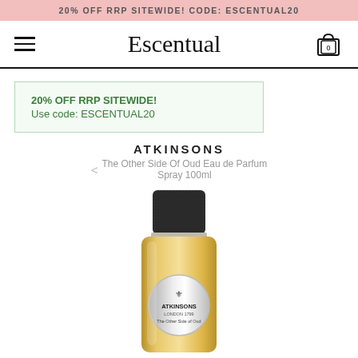20% OFF RRP SITEWIDE! CODE: ESCENTUAL20
Escentual
20% OFF RRP SITEWIDE! Use code: ESCENTUAL20
ATKINSONS
The Other Side Of Oud Eau de Parfum Spray 100ml
[Figure (photo): Atkinsons The Other Side of Oud perfume bottle — gold rectangular bottle with black textured cap and circular silver label reading ATKINSONS LONDON 1799 The Other Side of Oud]